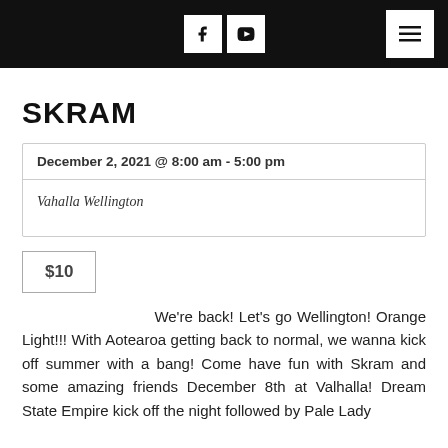Social media icons and menu
SKRAM
| December 2, 2021 @ 8:00 am - 5:00 pm |
| Vahalla Wellington |
$10
We're back! Let's go Wellington! Orange Light!!! With Aotearoa getting back to normal, we wanna kick off summer with a bang! Come have fun with Skram and some amazing friends December 8th at Valhalla! Dream State Empire kick off the night followed by Pale Lady before...